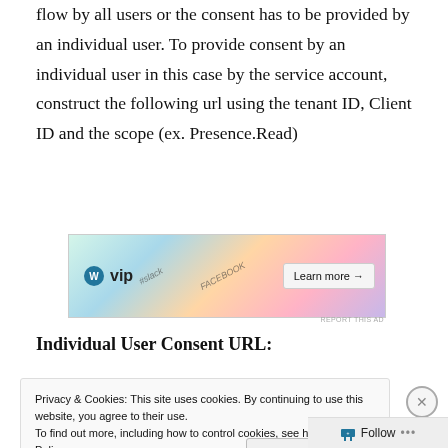flow by all users or the consent has to be provided by an individual user. To provide consent by an individual user in this case by the service account, construct the following url using the tenant ID, Client ID and the scope (ex. Presence.Read)
[Figure (other): WordPress VIP advertisement banner with colorful background showing logos including WordPress, Slack, Facebook. Contains 'Learn more →' button.]
Individual User Consent URL:
Privacy & Cookies: This site uses cookies. By continuing to use this website, you agree to their use. To find out more, including how to control cookies, see here: Cookie Policy
Close and accept